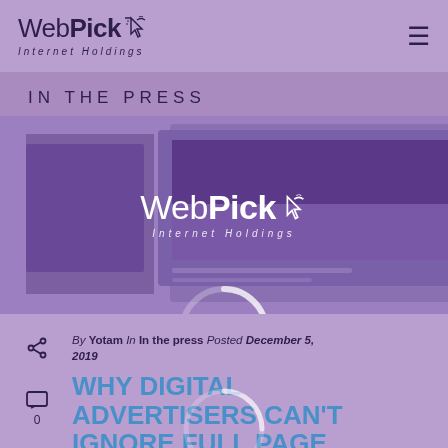WebPick Internet Holdings — navigation header with hamburger menu
IN THE PRESS
[Figure (illustration): Hero illustration showing digital advertising/web layouts with purple color scheme and WebPick Internet Holdings watermark logo overlay and spinner ring]
By Yotam In In the press Posted December 5, 2019
WHY DIGITAL ADVERTISERS CAN'T IGNORE FULL PAGE